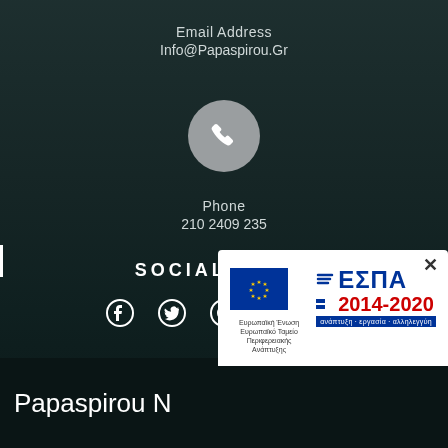Email Address
Info@Papaspirou.Gr
[Figure (illustration): Gray circle with white phone/handset icon]
Phone
210 2409 235
SOCIAL MEDIA
[Figure (infographic): Row of social media icons: Facebook, Twitter, Pinterest, Instagram, LinkedIn]
Papaspirou N
[Figure (logo): ESPA 2014-2020 popup with EU flag and European Regional Development Fund logo]